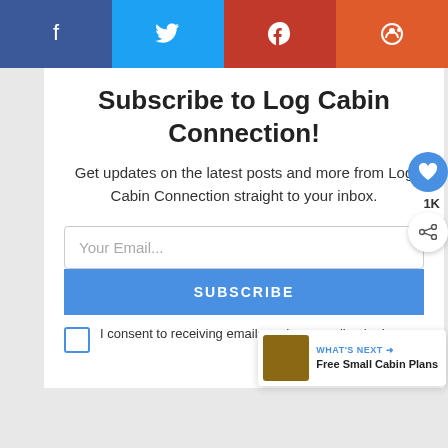[Figure (infographic): Social share buttons bar: Facebook (dark blue), Twitter (light blue), Pinterest (red), Reddit (orange)]
Subscribe to Log Cabin Connection!
Get updates on the latest posts and more from Log Cabin Connection straight to your inbox.
Your Email...
SUBSCRIBE
I consent to receiving emails and personalized ads.
1K
WHAT'S NEXT → Free Small Cabin Plans